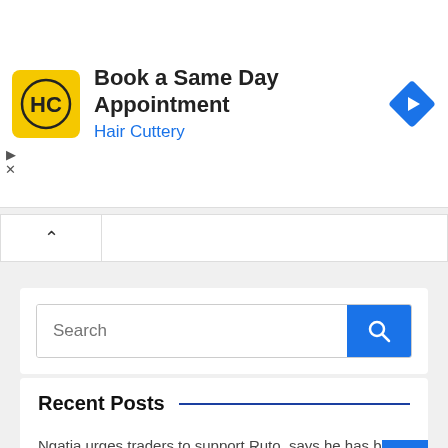[Figure (screenshot): Hair Cuttery advertisement banner with yellow HC logo, text 'Book a Same Day Appointment' and 'Hair Cuttery' subtitle, and a blue diamond navigation icon]
[Figure (screenshot): Search widget with text input field showing placeholder 'Search' and blue search button with magnifying glass icon]
Recent Posts
Ngatia urges traders to support Ruto, says he has best interest of the country
Samsung Foldables Record 50% Increase in Pre Orders